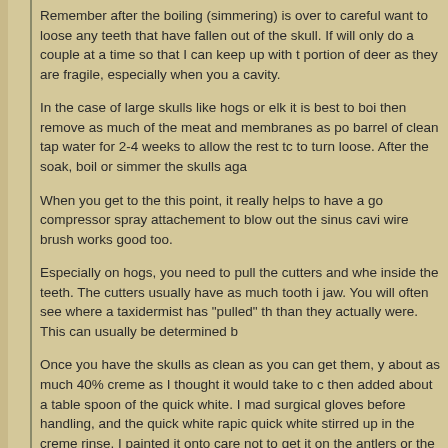Remember after the boiling (simmering) is over to carefully want to loose any teeth that have fallen out of the skull. If will only do a couple at a time so that I can keep up with t portion of deer as they are fragile, especially when you a cavity.
In the case of large skulls like hogs or elk it is best to boi then remove as much of the meat and membranes as po barrel of clean tap water for 2-4 weeks to allow the rest tc to turn loose. After the soak, boil or simmer the skulls aga
When you get to the this point, it really helps to have a go compressor spray attachement to blow out the sinus cavi wire brush works good too.
Especially on hogs, you need to pull the cutters and whe inside the teeth. The cutters usually have as much tooth i jaw. You will often see where a taxidermist has "pulled" th than they actually were. This can usually be determined b
Once you have the skulls as clean as you can get them, y about as much 40% creme as I thought it would take to c then added about a table spoon of the quick white. I mad surgical gloves before handling, and the quick white rapic quick white stirred up in the creme rinse, I painted it onto care not to get it on the antlers or the teeth of the deer or on the teeth.
The smaller skulls and jawbones, I just dipped into the ca